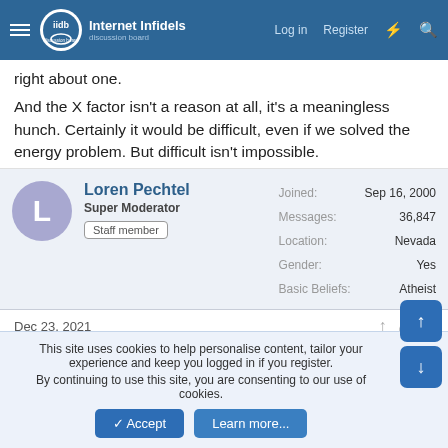Internet Infidels — Log in  Register
right about one.
And the X factor isn't a reason at all, it's a meaningless hunch. Certainly it would be difficult, even if we solved the energy problem. But difficult isn't impossible.
Loren Pechtel
Super Moderator
Staff member
Joined: Sep 16, 2000
Messages: 36,847
Location: Nevada
Gender: Yes
Basic Beliefs: Atheist
Dec 23, 2021  #9
I don't believe any of these are showstoppers.
This site uses cookies to help personalise content, tailor your experience and keep you logged in if you register.
By continuing to use this site, you are consenting to our use of cookies.